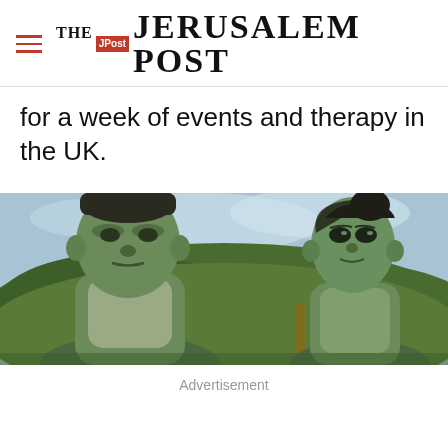THE JERUSALEM POST
for a week of events and therapy in the UK.
[Figure (photo): Two green-skinned Marvel characters (Hulk and She-Hulk) facing each other outdoors with green foliage in the background]
Advertisement